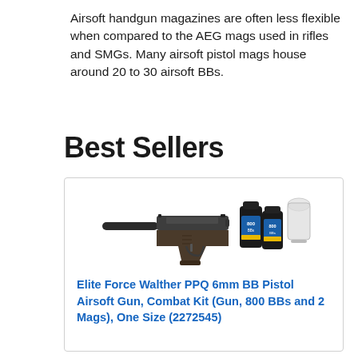Airsoft handgun magazines are often less flexible when compared to the AEG mags used in rifles and SMGs. Many airsoft pistol mags house around 20 to 30 airsoft BBs.
Best Sellers
[Figure (photo): Product photo of Elite Force Walther PPQ airsoft pistol gun with silencer, two black bottles of 800 BBs, and a clear bottle/target, shown as a combat kit.]
Elite Force Walther PPQ 6mm BB Pistol Airsoft Gun, Combat Kit (Gun, 800 BBs and 2 Mags), One Size (2272545)